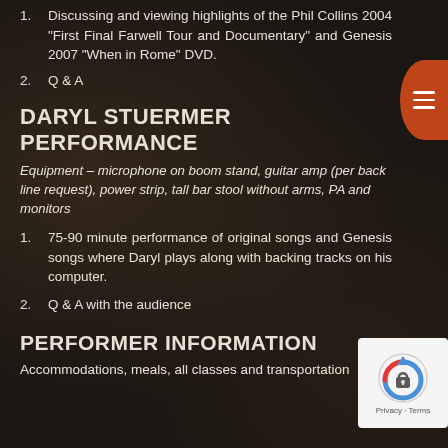1. Discussing and viewing highlights of the Phil Collins 2004 “First Final Farwell Tour and Documentary” and Genesis 2007 “When in Rome” DVD.
2. Q & A
DARYL STUERMER PERFORMANCE
Equipment – microphone on boom stand, guitar amp (per back line request), power strip, tall bar stool without arms, PA and monitors
1. 75-90 minute performance of original songs and Genesis songs where Daryl plays along with backing tracks on his computer.
2. Q & A with the audience
PERFORMER INFORMATION
Accommodations, meals, all classes and transportation